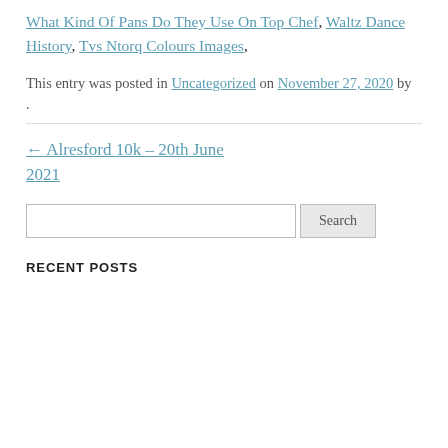What Kind Of Pans Do They Use On Top Chef, Waltz Dance History, Tvs Ntorq Colours Images,
This entry was posted in Uncategorized on November 27, 2020 by .
← Alresford 10k – 20th June 2021
Search
RECENT POSTS